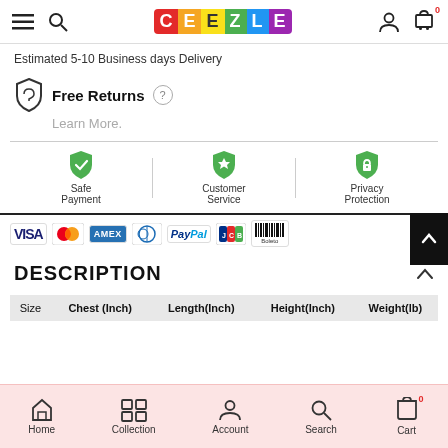CEEZLE — navigation header with hamburger menu, search, user icon, cart (0)
Estimated 5-10 Business days Delivery
Free Returns
Learn More.
[Figure (infographic): Three trust badges: Safe Payment (green shield with checkmark), Customer Service (green shield with star), Privacy Protection (green shield with lock)]
[Figure (infographic): Payment method logos: VISA, Mastercard, AMEX, Diners Club, PayPal, JCB, Boleto]
DESCRIPTION
| Size | Chest (Inch) | Length(Inch) | Height(Inch) | Weight(lb) |
| --- | --- | --- | --- | --- |
Home | Collection | Account | Search | Cart (0)